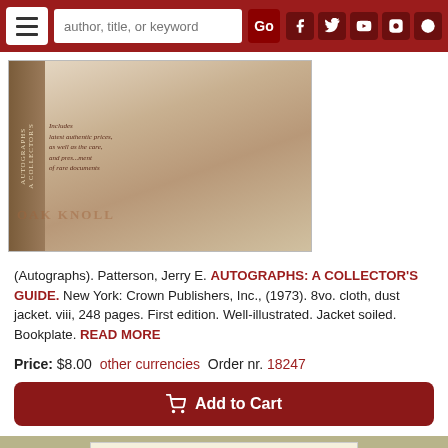[Figure (screenshot): Website navigation bar with hamburger menu, search box 'author, title, or keyword', Go button, and social media icons on dark red background]
[Figure (photo): Book cover photo of 'Autographs: A Collector's Guide' with OAK KNOLL watermark]
(Autographs). Patterson, Jerry E. AUTOGRAPHS: A COLLECTOR'S GUIDE. New York: Crown Publishers, Inc., (1973). 8vo. cloth, dust jacket. viii, 248 pages. First edition. Well-illustrated. Jacket soiled. Bookplate. READ MORE
Price: $8.00  other currencies  Order nr. 18247
[Figure (screenshot): Add to Cart button in dark red with shopping cart icon]
[Figure (photo): Document or certificate with red horizontal lines and blue stars on cream background, set on olive/tan background]